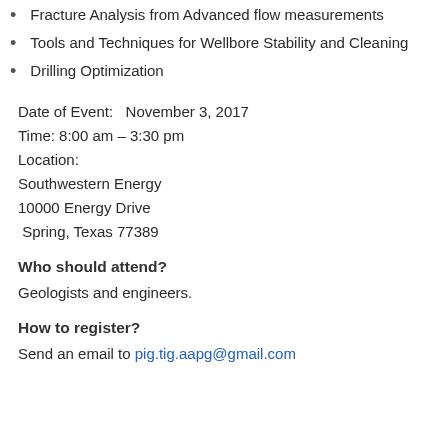Fracture Analysis from Advanced flow measurements
Tools and Techniques for Wellbore Stability and Cleaning
Drilling Optimization
Date of Event:   November 3, 2017
Time: 8:00 am – 3:30 pm
Location:
Southwestern Energy
10000 Energy Drive
 Spring, Texas 77389
Who should attend?
Geologists and engineers.
How to register?
Send an email to pig.tig.aapg@gmail.com